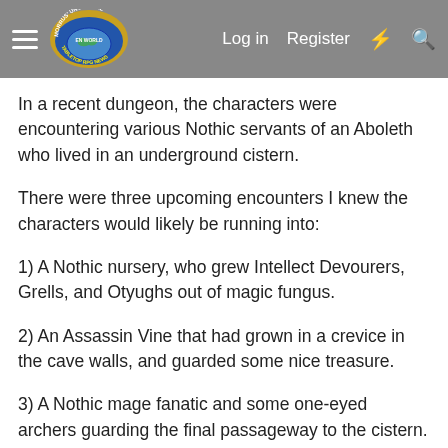Morrus' Unofficial Tabletop RPG News | Log in | Register
In a recent dungeon, the characters were encountering various Nothic servants of an Aboleth who lived in an underground cistern.
There were three upcoming encounters I knew the characters would likely be running into:
1) A Nothic nursery, who grew Intellect Devourers, Grells, and Otyughs out of magic fungus.
2) An Assassin Vine that had grown in a crevice in the cave walls, and guarded some nice treasure.
3) A Nothic mage fanatic and some one-eyed archers guarding the final passageway to the cistern.